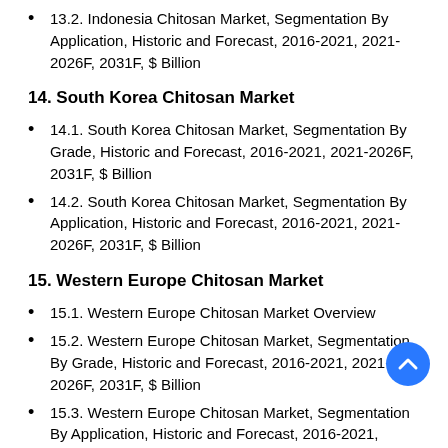13.2. Indonesia Chitosan Market, Segmentation By Application, Historic and Forecast, 2016-2021, 2021-2026F, 2031F, $ Billion
14. South Korea Chitosan Market
14.1. South Korea Chitosan Market, Segmentation By Grade, Historic and Forecast, 2016-2021, 2021-2026F, 2031F, $ Billion
14.2. South Korea Chitosan Market, Segmentation By Application, Historic and Forecast, 2016-2021, 2021-2026F, 2031F, $ Billion
15. Western Europe Chitosan Market
15.1. Western Europe Chitosan Market Overview
15.2. Western Europe Chitosan Market, Segmentation By Grade, Historic and Forecast, 2016-2021, 2021-2026F, 2031F, $ Billion
15.3. Western Europe Chitosan Market, Segmentation By Application, Historic and Forecast, 2016-2021, 2021-2026F,